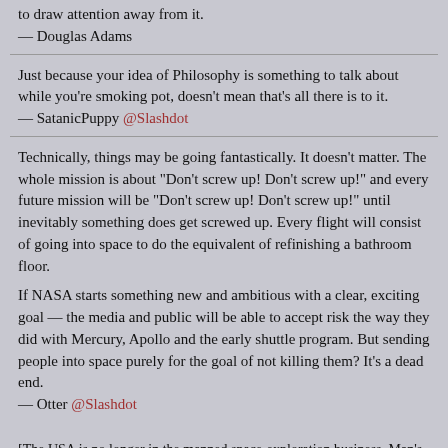to draw attention away from it.
— Douglas Adams
Just because your idea of Philosophy is something to talk about while you're smoking pot, doesn't mean that's all there is to it.
— SatanicPuppy @Slashdot
Technically, things may be going fantastically. It doesn't matter. The whole mission is about "Don't screw up! Don't screw up!" and every future mission will be "Don't screw up! Don't screw up!" until inevitably something does get screwed up. Every flight will consist of going into space to do the equivalent of refinishing a bathroom floor.
If NASA starts something new and ambitious with a clear, exciting goal — the media and public will be able to accept risk the way they did with Mercury, Apollo and the early shuttle program. But sending people into space purely for the goal of not killing them? It's a dead end.
— Otter @Slashdot
[The USA is no longer in the manned space-exploration business. Man's only hope for getting off this rock lies with China now.]